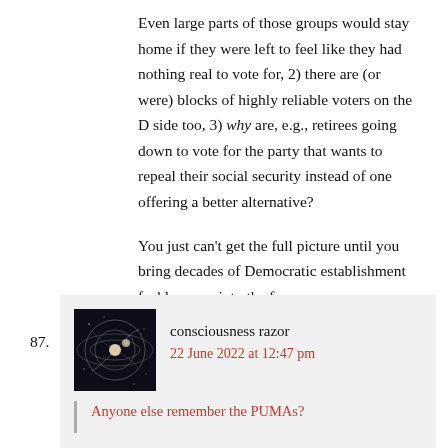Even large parts of those groups would stay home if they were left to feel like they had nothing real to vote for, 2) there are (or were) blocks of highly reliable voters on the D side too, 3) why are, e.g., retirees going down to vote for the party that wants to repeal their social security instead of one offering a better alternative?
You just can't get the full picture until you bring decades of Democratic establishment fecklessness into the frame.
87.
consciousness razor
22 June 2022 at 12:47 pm
Anyone else remember the PUMAs?
For those who don't, a little refresher.